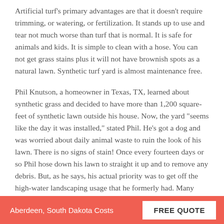Artificial turf's primary advantages are that it doesn't require trimming, or watering, or fertilization. It stands up to use and tear not much worse than turf that is normal. It is safe for animals and kids. It is simple to clean with a hose. You can not get grass stains plus it will not have brownish spots as a natural lawn. Synthetic turf yard is almost maintenance free.
Phil Knutson, a homeowner in Texas, TX, learned about synthetic grass and decided to have more than 1,200 square-feet of synthetic lawn outside his house. Now, the yard "seems like the day it was installed," stated Phil. He's got a dog and was worried about daily animal waste to ruin the look of his lawn. There is no signs of stain! Once every fourteen days or so Phil hose down his lawn to straight it up and to remove any debris. But, as he says, his actual priority was to get off the high-water landscaping usage that he formerly had. Many homeowners with synthetic lawns installed are simply happy because of reduced lawn care. Saving time and money on monthly mowing, trimming, watering natural grass, home-
Aberdeen, South Dakota Costs | FREE QUOTE